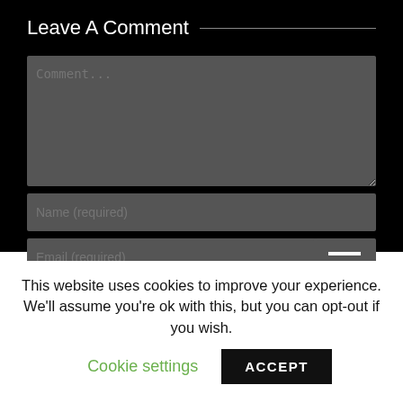Leave A Comment
[Figure (screenshot): Comment form with textarea labeled 'Comment...', input fields for 'Name (required)', 'Email (required)', 'Website', and a scroll-to-top button overlay on dark background]
This website uses cookies to improve your experience. We'll assume you're ok with this, but you can opt-out if you wish.
Cookie settings
ACCEPT